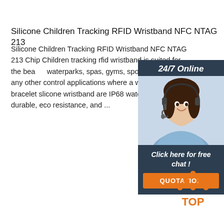Silicone Children Tracking RFID Wristband NFC NTAG 213
Silicone Children Tracking RFID Wristband NFC NTAG 213 Chip Children tracking rfid wristband is suited for the beach, waterparks, spas, gyms, sports clubs and any other control applications where a waterproof nfc bracelet slicone wristband are IP68 waterproof, durable, eco resistance, and ...
[Figure (photo): Chat widget with woman wearing headset, '24/7 Online' header, 'Click here for free chat!' text, and orange QUOTATION button]
Get Price
[Figure (logo): TOP logo with orange dots arranged in triangle above bold orange text 'TOP']